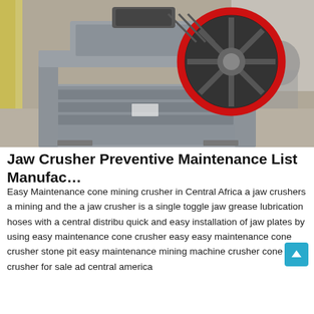[Figure (photo): Photo of a grey jaw crusher machine with a large black and red flywheel, photographed in an industrial warehouse setting. The machine has a heavy steel frame with corrugated side plates visible.]
Jaw Crusher Preventive Maintenance List Manufac…
Easy Maintenance cone mining crusher in Central Africa a jaw crushers a mining and the a jaw crusher is a single toggle jaw grease lubrication hoses with a central distribu quick and easy installation of jaw plates by using easy maintenance cone crusher easy easy maintenance cone crusher stone pit easy maintenance mining machine crusher cone crusher for sale ad central america